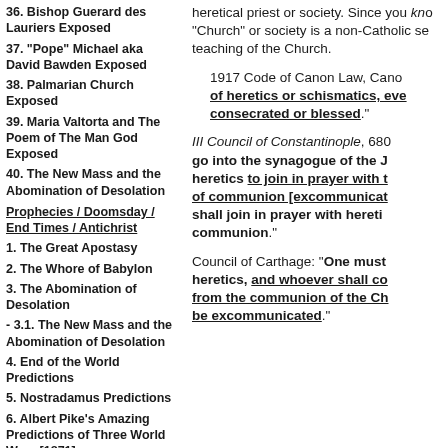36. Bishop Guerard des Lauriers Exposed
37. “Pope” Michael aka David Bawden Exposed
38. Palmarian Church Exposed
39. Maria Valtorta and The Poem of The Man God Exposed
40. The New Mass and the Abomination of Desolation
Prophecies / Doomsday / End Times / Antichrist
1. The Great Apostasy
2. The Whore of Babylon
3. The Abomination of Desolation
- 3.1. The New Mass and the Abomination of Desolation
4. End of the World Predictions
5. Nostradamus Predictions
6. Albert Pike’s Amazing Predictions of Three World Wars [1871]
7. Various Catholic End Times Prophecies
8. St. Nilus Prophecy
9. St. Bridget Prophecy
heretical priest or society. Since you kno… “Church” or society is a non-Catholic se… teaching of the Church.
1917 Code of Canon Law, Canon… of heretics or schismatics, eve… consecrated or blessed.
III Council of Constantinople, 680… go into the synagogue of the J… heretics to join in prayer with t… of communion [excommunicat… shall join in prayer with hereti… communion.
Council of Carthage: “One must… heretics, and whoever shall co… from the communion of the Ch… be excommunicated.”